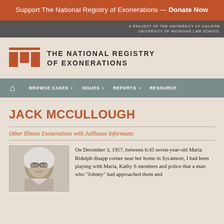Support The National Registry of Exonerations — Donate Now
A PROJECT OF THE UNIVERSITY OF CALIFORNIA · UNIVERSITY OF MICHIGAN LAW SCHOOL
[Figure (logo): The National Registry of Exonerations logo with orange/brown icon and text]
BROWSE CASES   ISSUES   REPORTS   RESOURCES
JACK MCCULLOUGH
Other Illinois Exonerations with Jailhouse Informants
[Figure (photo): Photo of Jack McCullough, an elderly man with white hair wearing glasses]
On December 3, 1957, between 6:45 seven-year-old Maria Ridulph disapp corner near her home in Sycamore, I had been playing with Maria, Kathy S members and police that a man who "Johnny" had approached them and